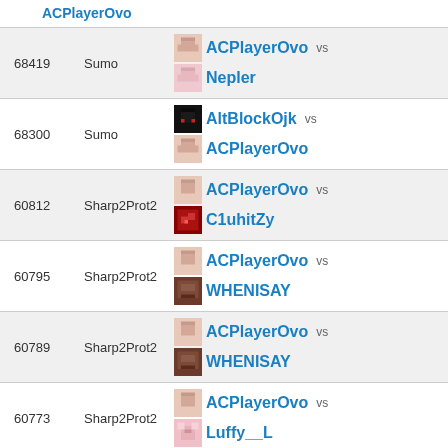| ID | Mode | Match |
| --- | --- | --- |
|  |  | ACPlayerOvo |
| 68419 | Sumo | ACPlayerOvo vs Nepler |
| 68300 | Sumo | AltBlockOjk vs ACPlayerOvo |
| 60812 | Sharp2Prot2 | ACPlayerOvo vs C1uhitZy |
| 60795 | Sharp2Prot2 | ACPlayerOvo vs WHENISAY |
| 60789 | Sharp2Prot2 | ACPlayerOvo vs WHENISAY |
| 60773 | Sharp2Prot2 | ACPlayerOvo vs Luffy__L |